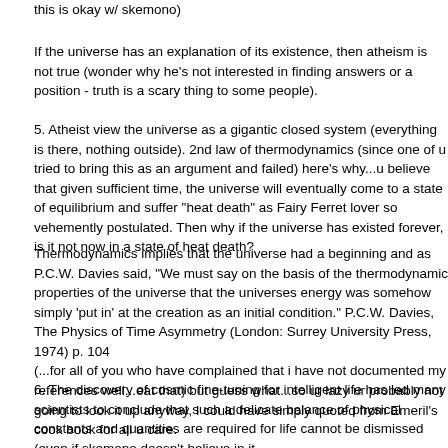this is okay w/ skemono)
If the universe has an explanation of its existence, then atheism is not true (wonder why he's not interested in finding answers or a position - truth is a scary thing to some people).
5. Atheist view the universe as a gigantic closed system (everything is there, nothing outside). 2nd law of thermodynamics (since one of u tried to bring this as an argument and failed) here's why...u believe that given sufficient time, the universe will eventually come to a state of equilibrium and suffer "heat death" as Fairy Ferret lover so vehemently postulated. Then why if the universe has existed forever, is it not now in a state of heat death?
Thermodynamics implies that the universe had a beginning and as P.C.W. Davies said, "We must say on the basis of the thermodynamic properties of the universe that the universes energy was somehow simply 'put in' at the creation as an initial condition." P.C.W. Davies, The Physics of Time Asymmetry (London: Surrey University Press, 1974) p. 104
(...for all of you who have complained that i have not documented my references well...eat that) but guess what...so ur lazy ur probably not going to look it up anyway, I could have simply quoted from Emeril's cook book for all u care.
6. The discovery of cosmic fine-tuning for intelligent life has led many scientists to conclude that such a delicate balance of physical constants and quantities are required for life cannot be dismissed (even if skemono doesn't believe in it...